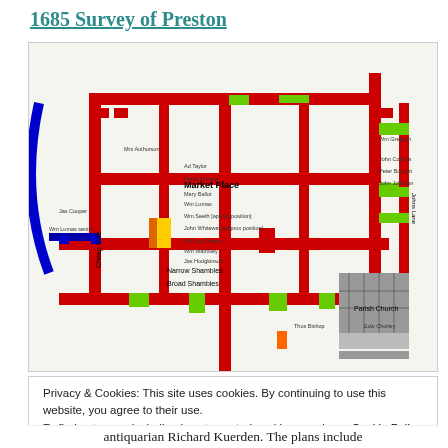1685 Survey of Preston
[Figure (map): Coloured historical map of Preston from 1685 survey, showing street layout with Market Place, Cheap Side, Narrow Shambles, Broad Shambles marked, buildings shown as red, blue, green, yellow blocks along streets]
Privacy & Cookies: This site uses cookies. By continuing to use this website, you agree to their use.
To find out more, including how to control cookies, see here: Cookie Policy
Close and accept
antiquarian Richard Kuerden. The plans include